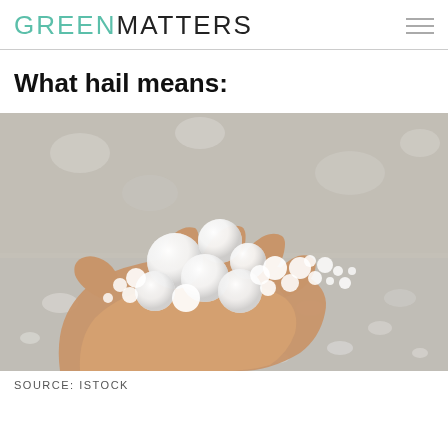GREENMATTERS
What hail means:
[Figure (photo): A hand holding multiple hailstones of various sizes against a background covered in hail on the ground. The hailstones are white and range from small pellets to larger rounded balls.]
SOURCE: ISTOCK